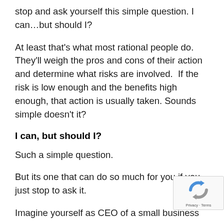stop and ask yourself this simple question.  I can…but should I?
At least that's what most rational people do.  They'll weigh the pros and cons of their action and determine what risks are involved.  If the risk is low enough and the benefits high enough, that action is usually taken. Sounds simple doesn't it?
I can, but should I?
Such a simple question.
But its one that can do so much for you if you just stop to ask it.
Imagine yourself as CEO of a small business